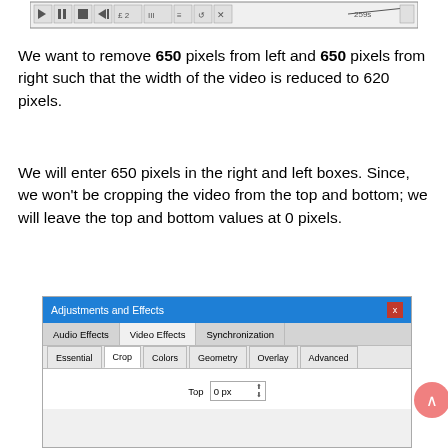[Figure (screenshot): Toolbar/transport controls screenshot at top of page]
We want to remove 650 pixels from left and 650 pixels from right such that the width of the video is reduced to 620 pixels.
We will enter 650 pixels in the right and left boxes. Since, we won't be cropping the video from the top and bottom; we will leave the top and bottom values at 0 pixels.
[Figure (screenshot): Adjustments and Effects dialog with Audio Effects, Video Effects, Synchronization tabs. Video Effects tab selected showing Essential, Crop, Colors, Geometry, Overlay, Advanced sub-tabs. Crop sub-tab selected showing Top field with value 0 px.]